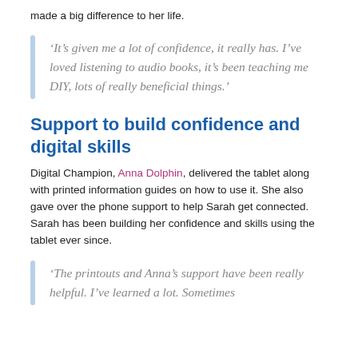made a big difference to her life.
‘It’s given me a lot of confidence, it really has. I’ve loved listening to audio books, it’s been teaching me DIY, lots of really beneficial things.’
Support to build confidence and digital skills
Digital Champion, Anna Dolphin, delivered the tablet along with printed information guides on how to use it. She also gave over the phone support to help Sarah get connected. Sarah has been building her confidence and skills using the tablet ever since.
‘The printouts and Anna’s support have been really helpful. I’ve learned a lot. Sometimes